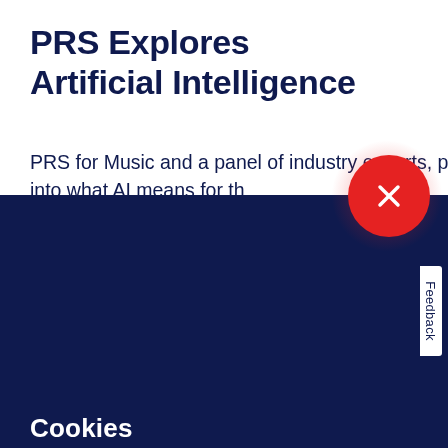PRS Explores Artificial Intelligence
PRS for Music and a panel of industry experts, policy makers and technology developers dive into what AI means for th
Cookies
We use cookies to improve your experience on our website, assess how you use our website and for website security purposes. By continuing to navigate this website, we'll assume you agree to this. Read more about what cookies do and how to adjust your settings here.
[Figure (other): Red circular close button with X mark, positioned at the boundary between white and dark blue sections]